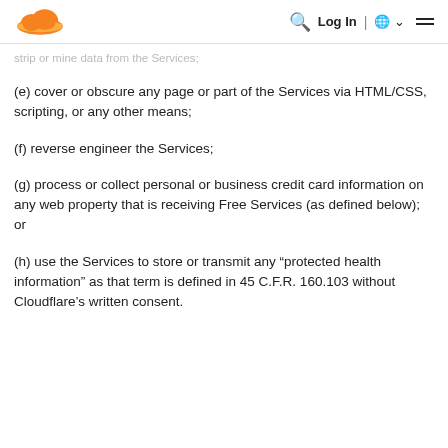Cloudflare navigation header with logo, search, Log In, globe, and menu
strip or mine data from the Services;
(e) cover or obscure any page or part of the Services via HTML/CSS, scripting, or any other means;
(f) reverse engineer the Services;
(g) process or collect personal or business credit card information on any web property that is receiving Free Services (as defined below); or
(h) use the Services to store or transmit any “protected health information” as that term is defined in 45 C.F.R. 160.103 without Cloudflare’s written consent.